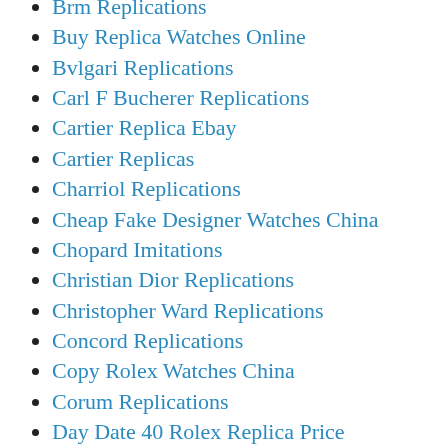Brm Replications
Buy Replica Watches Online
Bvlgari Replications
Carl F Bucherer Replications
Cartier Replica Ebay
Cartier Replicas
Charriol Replications
Cheap Fake Designer Watches China
Chopard Imitations
Christian Dior Replications
Christopher Ward Replications
Concord Replications
Copy Rolex Watches China
Corum Replications
Day Date 40 Rolex Replica Price
Dewitt Replications
Dietrich Replications